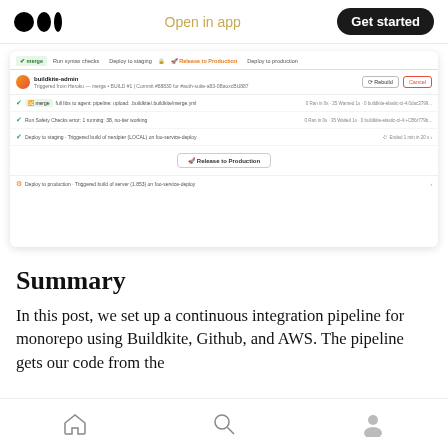Open in app | Get started
[Figure (screenshot): Screenshot of a CI/CD pipeline UI showing build steps: merge, run safety checks, deploy to staging, release to production, and deploy to production steps with status indicators, rebuild and cancel buttons.]
Summary
In this post, we set up a continuous integration pipeline for monorepo using Buildkite, Github, and AWS. The pipeline gets our code from the